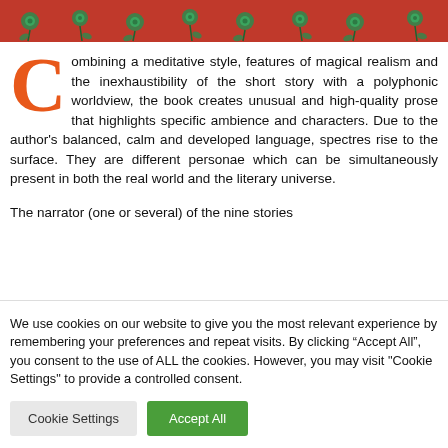[Figure (illustration): Floral banner with red background and green roses pattern]
Combining a meditative style, features of magical realism and the inexhaustibility of the short story with a polyphonic worldview, the book creates unusual and high-quality prose that highlights specific ambience and characters. Due to the author's balanced, calm and developed language, spectres rise to the surface. They are different personae which can be simultaneously present in both the real world and the literary universe.
The narrator (one or several) of the nine stories
We use cookies on our website to give you the most relevant experience by remembering your preferences and repeat visits. By clicking “Accept All”, you consent to the use of ALL the cookies. However, you may visit "Cookie Settings" to provide a controlled consent.